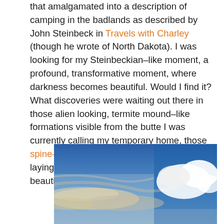that amalgamated into a description of camping in the badlands as described by John Steinbeck in Travels with Charley (though he wrote of North Dakota). I was looking for my Steinbeckian–like moment, a profound, transformative moment, where darkness becomes beautiful. Would I find it? What discoveries were waiting out there in those alien looking, termite mound–like formations visible from the butte I was currently calling my temporary home, those spine–like buttes that expose so much time, laying the history of the earth bare in a most beautiful and shocking way?
[Figure (photo): Photograph of a dramatic sky with blue tones and white clouds, suggesting an outdoor landscape scene related to the badlands.]